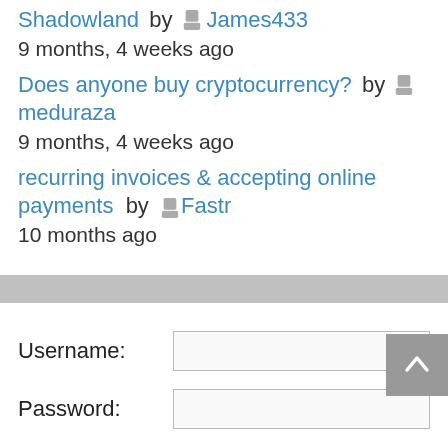Shadowland by James433
9 months, 4 weeks ago
Does anyone buy cryptocurrency? by meduraza
9 months, 4 weeks ago
recurring invoices & accepting online payments by Fastr
10 months ago
Username:
Password:
Keep me signed